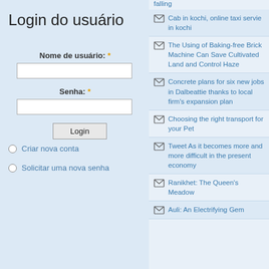Login do usuário
Nome de usuário: *
Senha: *
Login
Criar nova conta
Solicitar uma nova senha
falling
Cab in kochi, online taxi servie in kochi
The Using of Baking-free Brick Machine Can Save Cultivated Land and Control Haze
Concrete plans for six new jobs in Dalbeattie thanks to local firm's expansion plan
Choosing the right transport for your Pet
Tweet As it becomes more and more difficult in the present economy
Ranikhet: The Queen's Meadow
Auli: An Electrifying Gem